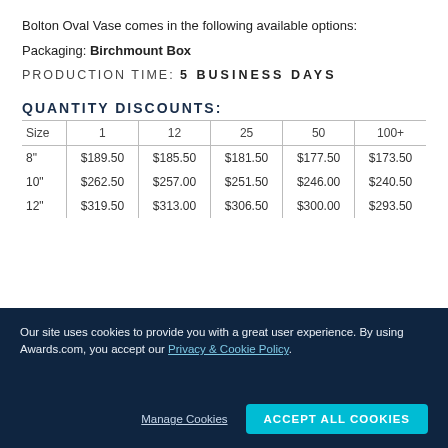Bolton Oval Vase comes in the following available options:
Packaging: Birchmount Box
PRODUCTION TIME: 5 BUSINESS DAYS
QUANTITY DISCOUNTS:
| Size | 1 | 12 | 25 | 50 | 100+ |
| --- | --- | --- | --- | --- | --- |
| 8" | $189.50 | $185.50 | $181.50 | $177.50 | $173.50 |
| 10" | $262.50 | $257.00 | $251.50 | $246.00 | $240.50 |
| 12" | $319.50 | $313.00 | $306.50 | $300.00 | $293.50 |
Our site uses cookies to provide you with a great user experience. By using Awards.com, you accept our Privacy & Cookie Policy.
Manage Cookies
ACCEPT ALL COOKIES